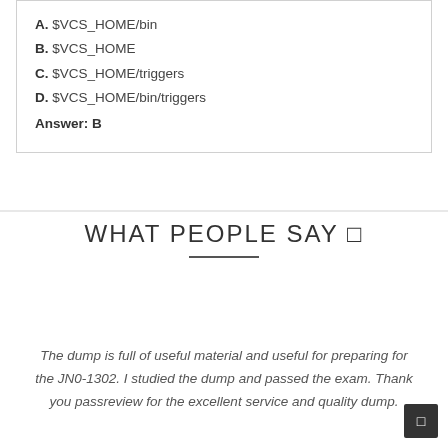A. $VCS_HOME/bin
B. $VCS_HOME
C. $VCS_HOME/triggers
D. $VCS_HOME/bin/triggers
Answer: B
WHAT PEOPLE SAY 🗨
The dump is full of useful material and useful for preparing for the JN0-1302. I studied the dump and passed the exam. Thank you passreview for the excellent service and quality dump.